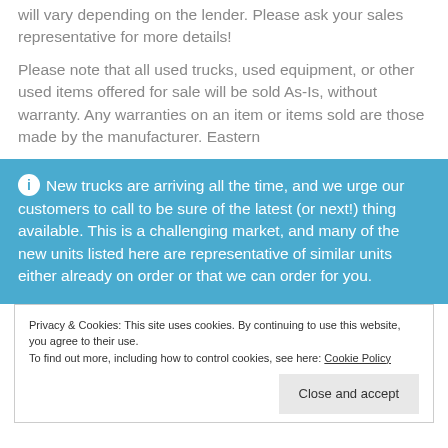will vary depending on the lender. Please ask your sales representative for more details!
Please note that all used trucks, used equipment, or other used items offered for sale will be sold As-Is, without warranty. Any warranties on an item or items sold are those made by the manufacturer. Eastern
New trucks are arriving all the time, and we urge our customers to call to be sure of the latest (or next!) thing available. This is a challenging market, and many of the new units listed here are representative of similar units either already on order or that we can order for you.
Privacy & Cookies: This site uses cookies. By continuing to use this website, you agree to their use. To find out more, including how to control cookies, see here: Cookie Policy
Close and accept